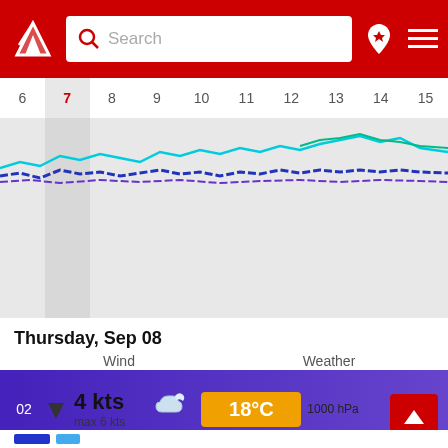Search
[Figure (continuous-plot): Wind/wave chart timeline showing colored lines (cyan, blue, purple) across dates 6-15, with day 7 highlighted]
Thursday, Sep 08
Wind   Weather
02   4 kts   max 6 kts   18°C   1000 hPa